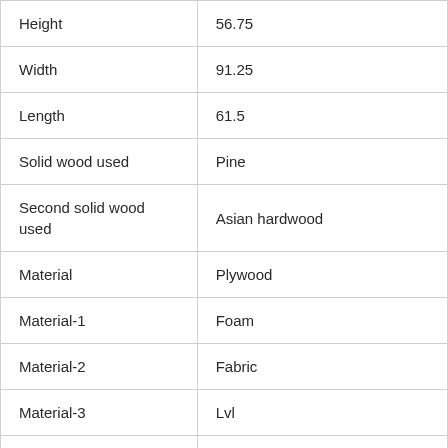| Attribute | Value |
| --- | --- |
| Height | 56.75 |
| Width | 91.25 |
| Length | 61.5 |
| Solid wood used | Pine |
| Second solid wood used | Asian hardwood |
| Material | Plywood |
| Material-1 | Foam |
| Material-2 | Fabric |
| Material-3 | Lvl |
| Method attach | L-shape hook and plate |